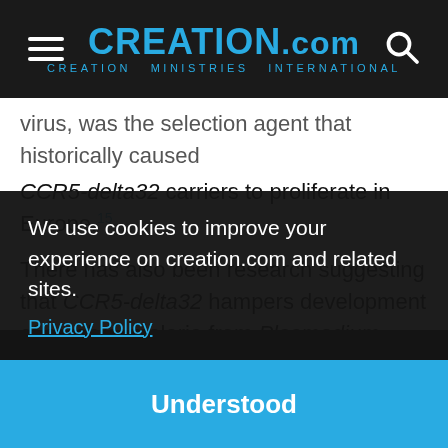CREATION.com — CREATION MINISTRIES INTERNATIONAL
virus, was the selection agent that historically caused CCR5-delta32 carriers to proliferate in Europe.15
There has also been research suggesting that CCR5-delta32 hampers development of cerebral malaria from Plasmodium infection,16 and that it may slow progression of Multiple Sclerosis.17,18
We use cookies to improve your experience on creation.com and related sites.
Privacy Policy
Understood